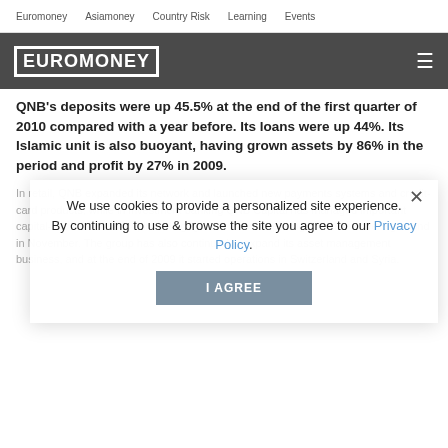Euromoney   Asiamoney   Country Risk   Learning   Events
EUROMONEY
QNB's deposits were up 45.5% at the end of the first quarter of 2010 compared with a year before. Its loans were up 44%. Its Islamic unit is also buoyant, having grown assets by 86% in the period and profit by 27% in 2009.
In retail, QNB expanded its network and launched new payments systems and credit-card products, while in investment banking QNB Capital has managed important capital-markets issuance, including Qatar's record-breaking $7 billion sovereign bond in November. The group has also continued to expand its asset management business, and at the end of 2009 it started operations in Switzerland and Syria.
We use cookies to provide a personalized site experience.
By continuing to use & browse the site you agree to our Privacy Policy.
I AGREE